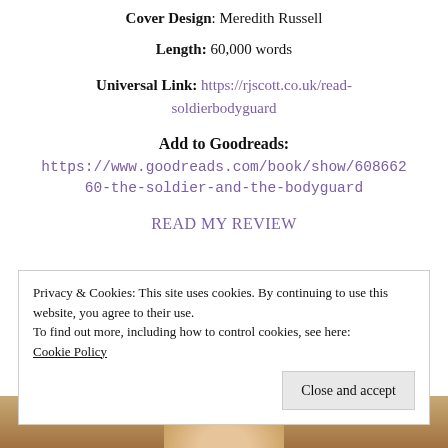Cover Design: Meredith Russell
Length: 60,000 words
Universal Link: https://rjscott.co.uk/read-soldierbodyguard
Add to Goodreads:
https://www.goodreads.com/book/show/60866260-the-soldier-and-the-bodyguard
READ MY REVIEW
Privacy & Cookies: This site uses cookies. By continuing to use this website, you agree to their use.
To find out more, including how to control cookies, see here:
Cookie Policy
Close and accept
[Figure (photo): Bottom strip showing partial photo of a person]